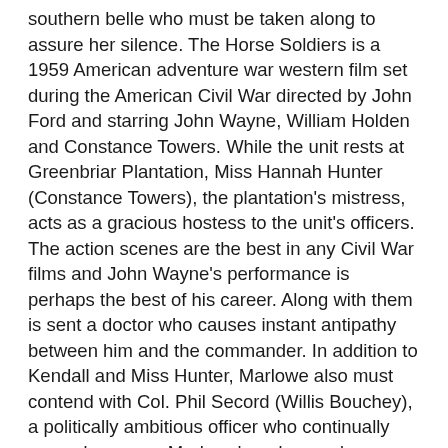southern belle who must be taken along to assure her silence. The Horse Soldiers is a 1959 American adventure war western film set during the American Civil War directed by John Ford and starring John Wayne, William Holden and Constance Towers. While the unit rests at Greenbriar Plantation, Miss Hannah Hunter (Constance Towers), the plantation's mistress, acts as a gracious hostess to the unit's officers. The action scenes are the best in any Civil War films and John Wayne's performance is perhaps the best of his career. Along with them is sent a doctor who causes instant antipathy between him and the commander. In addition to Kendall and Miss Hunter, Marlowe also must contend with Col. Phil Secord (Willis Bouchey), a politically ambitious officer who continually second-guesses Marlowe's orders and command decisions. \rWe're riding down to hell and back for Ulysses Simpson Grant.\r\r\r-------------------------------------------------------------------- Looking for some great streaming picks? (1959). Several battles ensue, including the capture of Newton Station, later a fire fight during which Lukey is killed, and a skirmish with boy cadets from a local military school (based on the actual Battle of New Market).